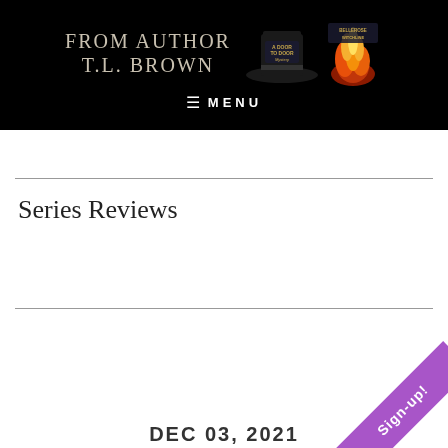FROM AUTHOR T.L. BROWN
MENU
Series Reviews
DEC 03 2021
[Figure (other): Sign-up! purple ribbon banner in bottom-right corner]